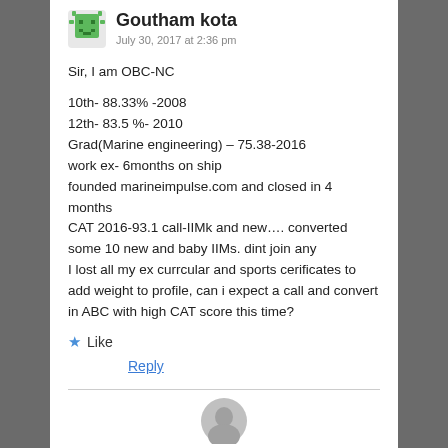Goutham kota
July 30, 2017 at 2:36 pm
Sir, I am OBC-NC

10th- 88.33% -2008
12th- 83.5 %- 2010
Grad(Marine engineering) – 75.38-2016
work ex- 6months on ship
founded marineimpulse.com and closed in 4 months
CAT 2016-93.1 call-IIMk and new…. converted some 10 new and baby IIMs. dint join any
I lost all my ex currcular and sports cerificates to add weight to profile, can i expect a call and convert in ABC with high CAT score this time?
Like
Reply